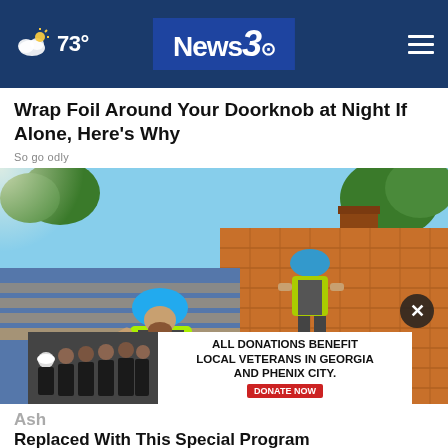73° News3
Wrap Foil Around Your Doorknob at Night If Alone, Here's Why
Sogoodly
[Figure (photo): Two roofers in high-visibility vests and hard hats laying tiles on a roof]
ALL DONATIONS BENEFIT LOCAL VETERANS IN GEORGIA AND PHENIX CITY. DONATE NOW
Ash... Replaced With This Special Program